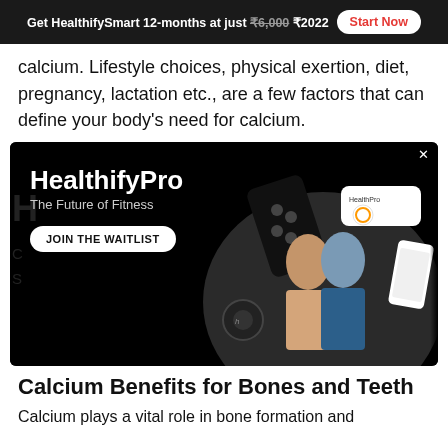Get HealthifySmart 12-months at just ₹6,000 ₹2022  Start Now
calcium. Lifestyle choices, physical exertion, diet, pregnancy, lactation etc., are a few factors that can define your body's need for calcium.
[Figure (illustration): HealthifyPro advertisement banner on black background. Shows 'HealthifyPro - The Future of Fitness' heading with a 'JOIN THE WAITLIST' button. Illustration features a man and woman standing confidently with fitness tracking devices, a smart scale, and a mobile app UI displayed alongside.]
Calcium Benefits for Bones and Teeth
Calcium plays a vital role in bone formation and